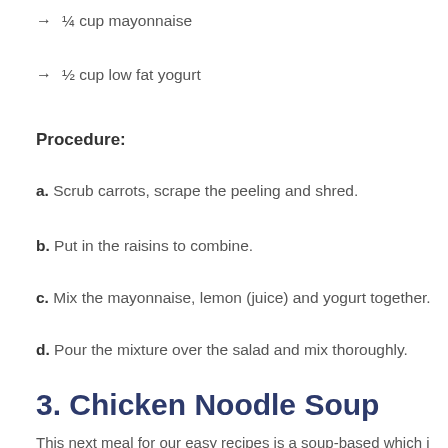¼ cup mayonnaise
½ cup low fat yogurt
Procedure:
a. Scrub carrots, scrape the peeling and shred.
b. Put in the raisins to combine.
c. Mix the mayonnaise, lemon (juice) and yogurt together.
d. Pour the mixture over the salad and mix thoroughly.
3. Chicken Noodle Soup
This next meal for our easy recipes is a soup-based which i